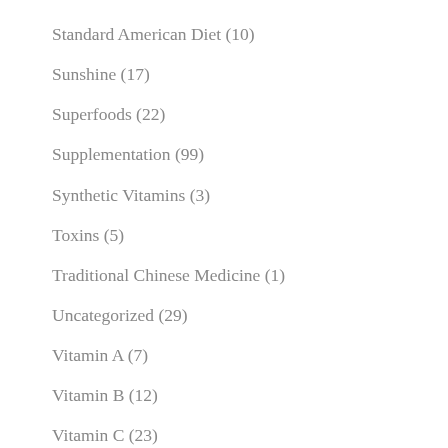Standard American Diet (10)
Sunshine (17)
Superfoods (22)
Supplementation (99)
Synthetic Vitamins (3)
Toxins (5)
Traditional Chinese Medicine (1)
Uncategorized (29)
Vitamin A (7)
Vitamin B (12)
Vitamin C (23)
Vitamin D (40)
Vitamin E (5)
Vitamin K (12)